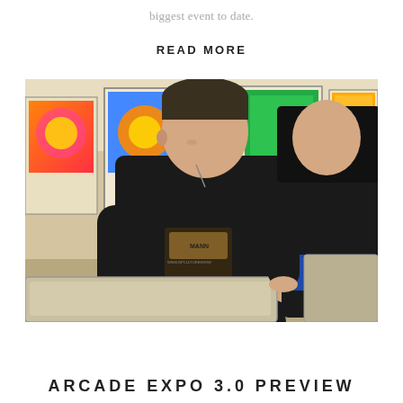biggest event to date.
READ MORE
[Figure (photo): Two people playing pinball machines in an arcade setting. A man in a black t-shirt with graphic print is in the foreground, leaning over a pinball machine. A woman in a black top and blue shorts is in the background also at a pinball machine. Multiple colorful pinball machine backglasses are visible behind them.]
ARCADE EXPO 3.0 PREVIEW